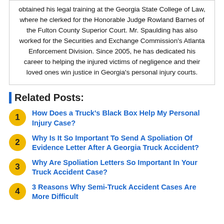obtained his legal training at the Georgia State College of Law, where he clerked for the Honorable Judge Rowland Barnes of the Fulton County Superior Court. Mr. Spaulding has also worked for the Securities and Exchange Commission's Atlanta Enforcement Division. Since 2005, he has dedicated his career to helping the injured victims of negligence and their loved ones win justice in Georgia's personal injury courts.
Related Posts:
How Does a Truck's Black Box Help My Personal Injury Case?
Why Is It So Important To Send A Spoliation Of Evidence Letter After A Georgia Truck Accident?
Why Are Spoliation Letters So Important In Your Truck Accident Case?
3 Reasons Why Semi-Truck Accident Cases Are More Difficult